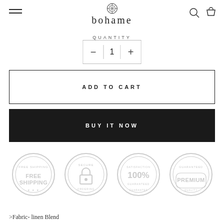bohame
QUANTITY
[Figure (screenshot): Quantity selector with minus button, value 1, and plus button inside a bordered box]
[Figure (screenshot): ADD TO CART button with border]
[Figure (screenshot): BUY IT NOW button with dark background]
[Figure (infographic): Four trust badge icons: FREE SHIPPING, SECURE (lock icon), 100% SATISFACTION GUARANTEED, PREMIUM]
>Fabric- linen Blend